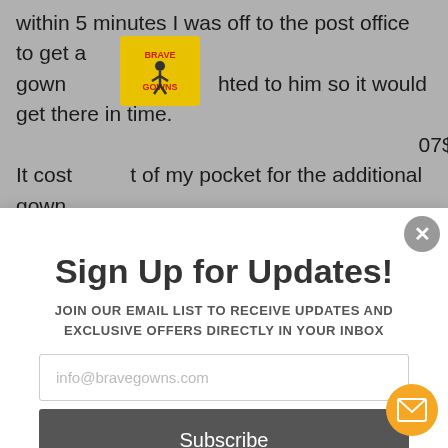within 5 minutes I was off to the post office to get a gown [logo] hted to him so it would get there in time. 07 $0.00 It cost [price] t of my pocket for the additional gown and the shipping. That is minuet in the big picture, but
Sign Up for Updates!
JOIN OUR EMAIL LIST TO RECEIVE UPDATES AND EXCLUSIVE OFFERS DIRECTLY IN YOUR INBOX
info@bravegowns.com
Subscribe
*By completing this form you are signing up to receive our emails and can unsubscribe at any time.